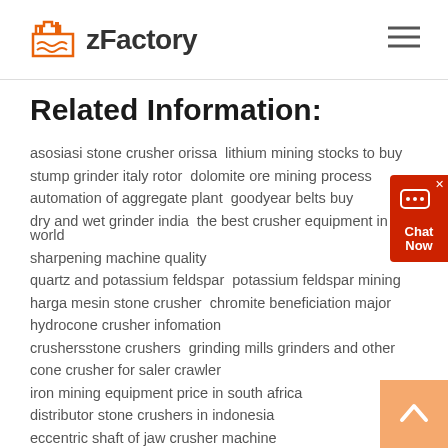zFactory
Related Information:
asosiasi stone crusher orissa  lithium mining stocks to buy
stump grinder italy rotor  dolomite ore mining process
automation of aggregate plant  goodyear belts buy
dry and wet grinder india  the best crusher equipment in the world
sharpening machine quality
quartz and potassium feldspar  potassium feldspar mining
harga mesin stone crusher  chromite beneficiation major
hydrocone crusher infomation
crushersstone crushers grinding mills grinders and other
cone crusher for saler crawler
iron mining equipment price in south africa
distributor stone crushers in indonesia
eccentric shaft of jaw crusher machine
mobile limestone jaw crusher suppliers in angola
japan crusher machinery grinding zimbabwe mining